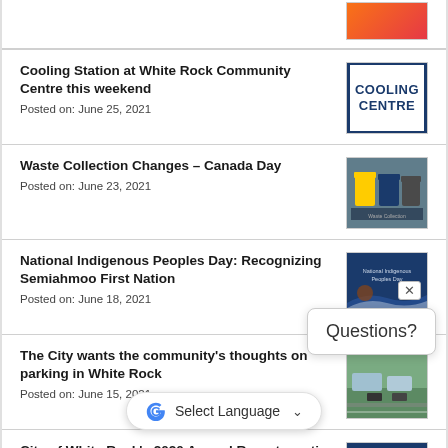[Figure (photo): Partial orange/red gradient image thumbnail at top]
Cooling Station at White Rock Community Centre this weekend
Posted on: June 25, 2021
[Figure (photo): Cooling Centre sign thumbnail - blue text on white background with blue border]
Waste Collection Changes – Canada Day
Posted on: June 23, 2021
[Figure (photo): Waste collection bins photo thumbnail]
National Indigenous Peoples Day: Recognizing Semiahmoo First Nation
Posted on: June 18, 2021
[Figure (photo): National Indigenous Peoples Day document thumbnail with blue background and wave design]
The City wants the community's thoughts on parking in White Rock
Posted on: June 15, 2021
[Figure (photo): Parking photo thumbnail]
City of White Rock's 2020 Annual Report meeting on
Posted on: June 11, 2021
[Figure (photo): City of White Rock 2020 Annual Report thumbnail with blue background and White Rock logo]